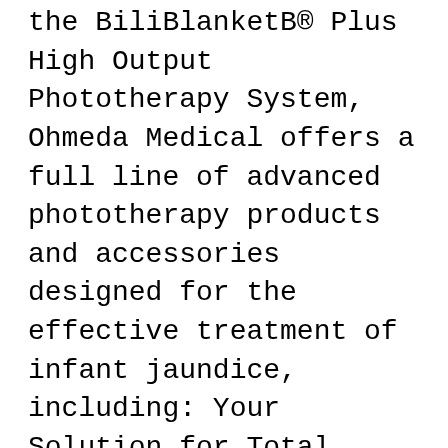the BiliBlanketB® Plus High Output Phototherapy System, Ohmeda Medical offers a full line of advanced phototherapy products and accessories designed for the effective treatment of infant jaundice, including: Your Solution for Total Jaundice Management Ohmeda Medical BiliSoft Phototherapy features LED technology for intensive, efficacious phototherapy as recommended by AAP Guidelines. It provides an increased surface area with high spectral irradiance of long-lasting blue narrow-band LED light. The LED phototherapy system allows the pediatric patient to be wrapped, fed, and held during phototherapy sessions.